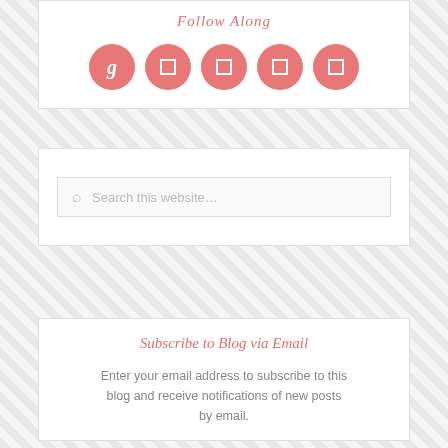Follow Along
[Figure (illustration): Five salmon/coral colored circular social media icon buttons. The first has a 'g' for Google+, the remaining four have small square/rectangle icon placeholders for other social networks (Facebook, Twitter, Pinterest, RSS or similar).]
Search this website…
Subscribe to Blog via Email
Enter your email address to subscribe to this blog and receive notifications of new posts by email.